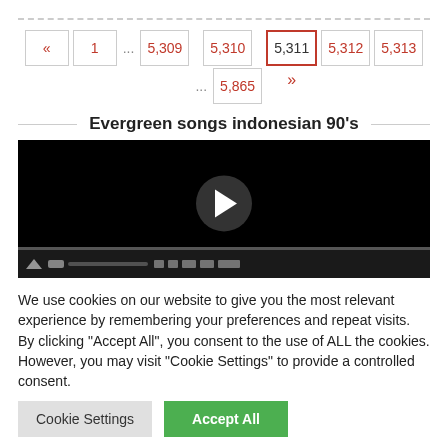[Figure (screenshot): Pagination navigation bar showing page numbers: «, 1, ..., 5,309, 5,310 / 5,865, 5,311 (active/current with red border), 5,312, 5,313, with » under 5,311]
Evergreen songs indonesian 90's
[Figure (screenshot): Embedded YouTube-style video player with black background, circular play button in center, progress bar at bottom, and video controls bar]
We use cookies on our website to give you the most relevant experience by remembering your preferences and repeat visits. By clicking "Accept All", you consent to the use of ALL the cookies. However, you may visit "Cookie Settings" to provide a controlled consent.
Cookie Settings
Accept All